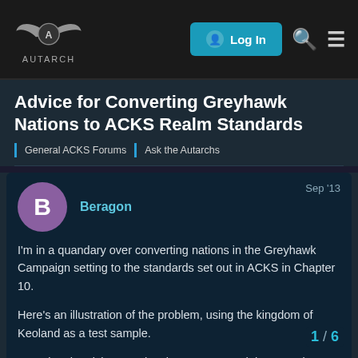AUTARCH | Log In
Advice for Converting Greyhawk Nations to ACKS Realm Standards
General ACKS Forums | Ask the Autarchs
Beragon  Sep '13
I'm in a quandary over converting nations in the Greyhawk Campaign setting to the standards set out in ACKS in Chapter 10.
Here's an illustration of the problem, using the kingdom of Keoland as a test sample.
I'm using the Living Greyhawk Gazetteer and the very nice poster maps Paizo created when they were publishing Dungeon Magazine, which are already hexed. Those of 1 hex = 30 miles, but I'm changing it to
1 / 6